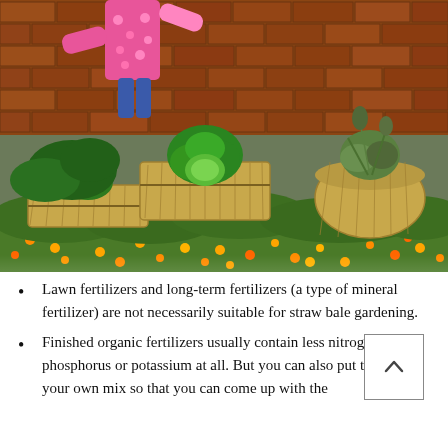[Figure (photo): A garden scene with straw bales used as planters, growing various vegetables and green plants. Orange marigold flowers grow around the bales on a lush green ground cover. A scarecrow or person in a pink floral outfit stands among the bale gardens, with a red brick wall in the background.]
Lawn fertilizers and long-term fertilizers (a type of mineral fertilizer) are not necessarily suitable for straw bale gardening.
Finished organic fertilizers usually contain less nitrogen or no phosphorus or potassium at all. But you can also put together your own mix so that you can come up with the